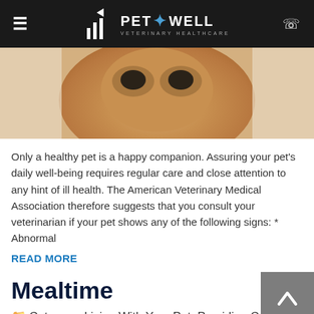PET+WELL VETERINARY HEALTHCARE
[Figure (photo): Close-up photo of a golden retriever dog's face]
Only a healthy pet is a happy companion. Assuring your pet's daily well-being requires regular care and close attention to any hint of ill health. The American Veterinary Medical Association therefore suggests that you consult your veterinarian if your pet shows any of the following signs: * Abnormal
READ MORE
Mealtime
Category: Living With Your Pet, Providing Care
[Figure (photo): Partial photo at bottom of page]